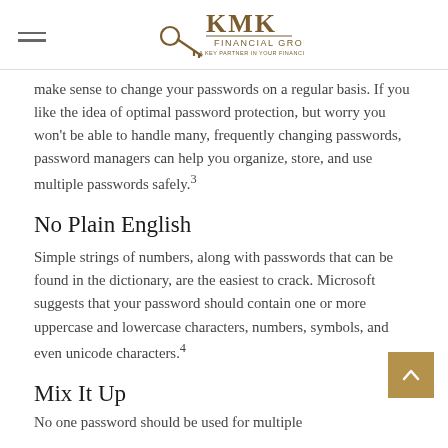KMK Financial Group — A key partner in your financial well-being
make sense to change your passwords on a regular basis. If you like the idea of optimal password protection, but worry you won't be able to handle many, frequently changing passwords, password managers can help you organize, store, and use multiple passwords safely.³
No Plain English
Simple strings of numbers, along with passwords that can be found in the dictionary, are the easiest to crack. Microsoft suggests that your password should contain one or more uppercase and lowercase characters, numbers, symbols, and even unicode characters.⁴
Mix It Up
No one password should be used for multiple...